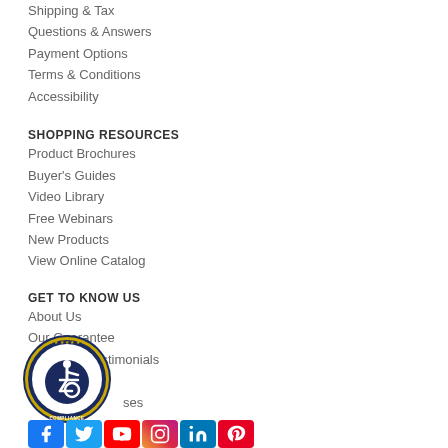Shipping & Tax
Questions & Answers
Payment Options
Terms & Conditions
Accessibility
SHOPPING RESOURCES
Product Brochures
Buyer's Guides
Video Library
Free Webinars
New Products
View Online Catalog
GET TO KNOW US
About Us
Our Guarantee
Customer Testimonials
Partners
C...ses
[Figure (logo): ADA Site Compliance badge — circular badge with wheelchair accessibility icon, gold stars, dark blue border, text ADA SITE COMPLIANCE]
[Figure (other): Social media icons row: Facebook, Twitter, YouTube, Instagram, LinkedIn, Pinterest]